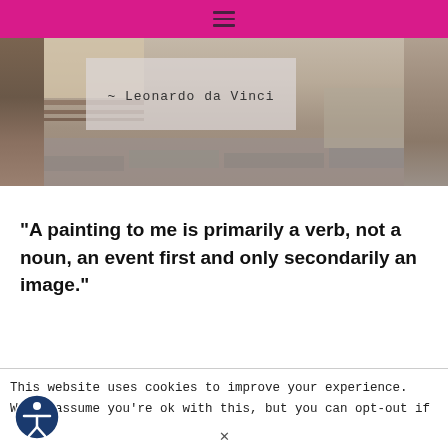≡ (hamburger menu icon)
[Figure (photo): Hero image with stone/rock wall background and semi-transparent overlay showing '~ Leonardo da Vinci' text in monospace font]
“A painting to me is primarily a verb, not a noun, an event first and only secondarily an image.”
This website uses cookies to improve your experience. We'll assume you're ok with this, but you can opt-out if